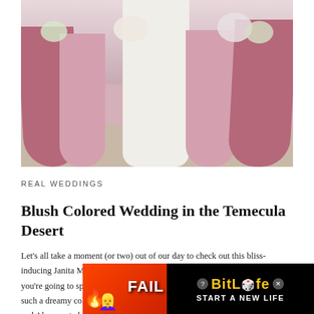[Figure (photo): Wedding photo showing bridesmaids in pink/mauve dresses and bride in white holding floral bouquets, outdoor desert setting]
REAL WEDDINGS
Blush Colored Wedding in the Temecula Desert
Let's all take a moment (or two) out of our day to check out this bliss-inducing Janita Mestre wedding. It's delightfully in the desert, so of course you're going to spot a few cacti at Galway Downs, but you're going to see such a dreamy color palette too. Being so close to Valentine's Day, Stephanie and Alex wanted to evoke love all th... ...blush and ivory floral... ...g David's Bridal ma...
[Figure (screenshot): BitLife advertisement overlay: red background with FAIL text on left, black panel on right with BitLife logo and START A NEW LIFE text]